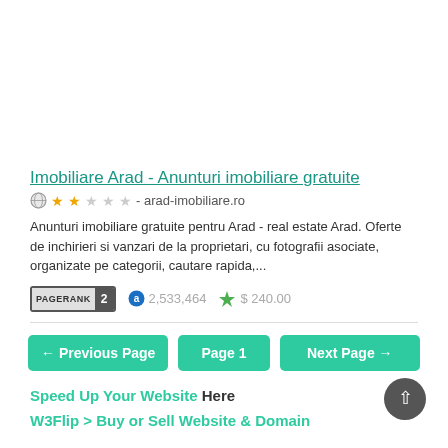Imobiliare Arad - Anunturi imobiliare gratuite
arad-imobiliare.ro
Anunturi imobiliare gratuite pentru Arad - real estate Arad. Oferte de inchirieri si vanzari de la proprietari, cu fotografii asociate, organizate pe categorii, cautare rapida,...
PAGERANK 2  2,533,464  $ 240.00
← Previous Page   Page 1   Next Page →
Speed Up Your Website Here
W3Flip > Buy or Sell Website & Domain